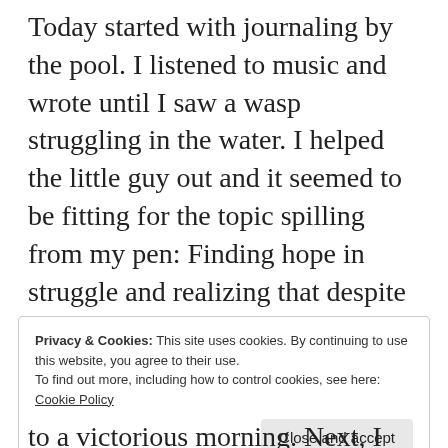Today started with journaling by the pool. I listened to music and wrote until I saw a wasp struggling in the water. I helped the little guy out and it seemed to be fitting for the topic spilling from my pen: Finding hope in struggle and realizing that despite how big the mess is there's a message waiting to unfold. So I grabbed a noodle (the pool toy, not the pasta) and scooped the little guy out of the water. It was like God handed me a metaphor.
Privacy & Cookies: This site uses cookies. By continuing to use this website, you agree to their use.
To find out more, including how to control cookies, see here: Cookie Policy
Close and accept
to a victorious morning. Next, I headed to the